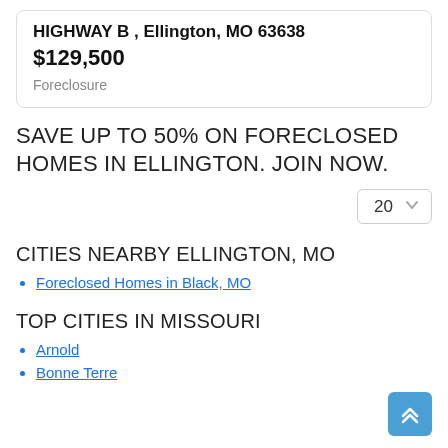HIGHWAY B , Ellington, MO 63638
$129,500
Foreclosure
SAVE UP TO 50% ON FORECLOSED HOMES IN ELLINGTON. JOIN NOW.
[Figure (other): Dropdown selector showing '20' with chevron arrow]
CITIES NEARBY ELLINGTON, MO
Foreclosed Homes in Black, MO
TOP CITIES IN MISSOURI
Arnold
Bonne Terre
[Figure (other): Scroll-to-top button with double up chevron icon]